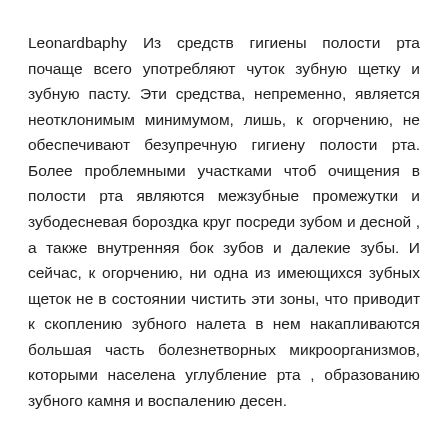Leonardbaphy Из средств гигиены полости рта почаще всего употребляют чуток зубную щетку и зубную пасту. Эти средства, непременно, является неотклонимым минимумом, лишь, к огорчению, не обеспечивают безупречную гигиену полости рта. Более проблемными участками чтоб очищения в полости рта являются межзубные промежутки и зубодесневая бороздка круг посреди зубом и десной , а также внутренняя бок зубов и далекие зубы. И сейчас, к огорчению, ни одна из имеющихся зубных щеток не в состоянии чистить эти зоны, что приводит к скоплению зубного налета в нем накапливаются большая часть болезнетворных микроорганизмов, которыми населена углубление рта , образованию зубного камня и воспалению десен.